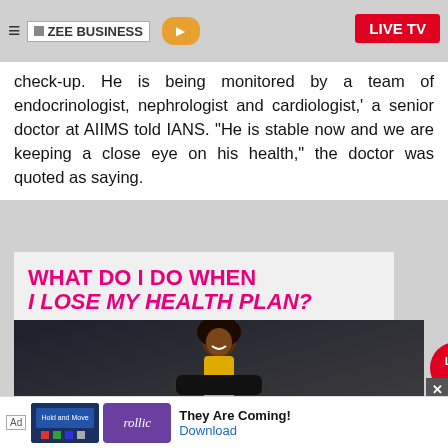ZEE BUSINESS | LIVE TV
check-up. He is being monitored by a team of endocrinologist, nephrologist and cardiologist,' a senior doctor at AIIMS told IANS. 'He is stable now and we are keeping a close eye on his health,' the doctor was quoted as saying.
[Figure (advertisement): Advertisement showing text 'WHAT DO I DO WHEN I LOSE MY HEALTH PLAN?' in bold pink/magenta on grey background, with a smiling woman holding a skateboard below]
[Figure (advertisement): Bottom banner ad for Rollic game app showing 'They Are Coming!' with Download link]